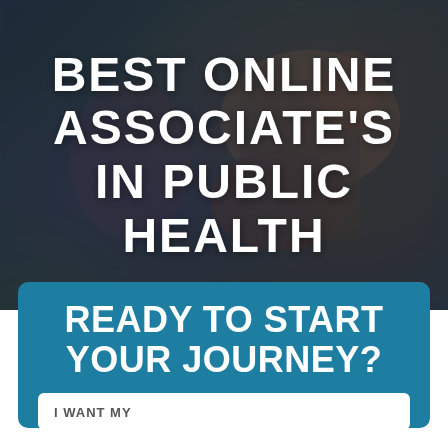[Figure (photo): Blurred dark background photo showing a graduation diploma/scroll with decorative elements, overlaid with dark semi-transparent layer]
BEST ONLINE ASSOCIATE'S IN PUBLIC HEALTH
READY TO START YOUR JOURNEY?
I WANT MY